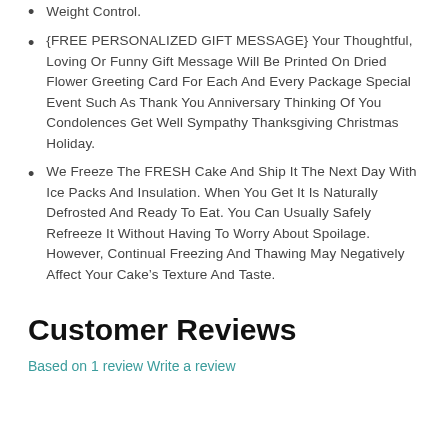Weight Control.
{FREE PERSONALIZED GIFT MESSAGE} Your Thoughtful, Loving Or Funny Gift Message Will Be Printed On Dried Flower Greeting Card For Each And Every Package Special Event Such As Thank You Anniversary Thinking Of You Condolences Get Well Sympathy Thanksgiving Christmas Holiday.
We Freeze The FRESH Cake And Ship It The Next Day With Ice Packs And Insulation. When You Get It Is Naturally Defrosted And Ready To Eat. You Can Usually Safely Refreeze It Without Having To Worry About Spoilage. However, Continual Freezing And Thawing May Negatively Affect Your Cake’s Texture And Taste.
Customer Reviews
Based on 1 review Write a review